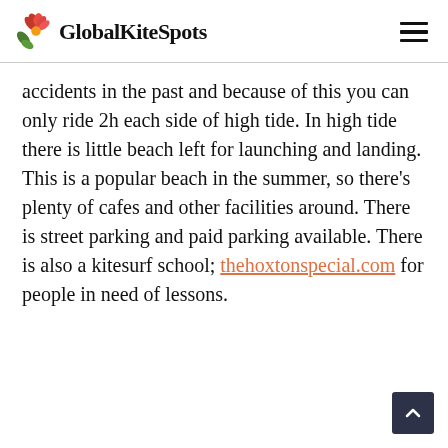GlobalKiteSpots
accidents in the past and because of this you can only ride 2h each side of high tide. In high tide there is little beach left for launching and landing. This is a popular beach in the summer, so there's plenty of cafes and other facilities around. There is street parking and paid parking available. There is also a kitesurf school; thehoxtonspecial.com for people in need of lessons.